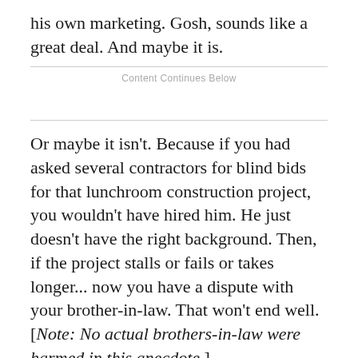his own marketing. Gosh, sounds like a great deal. And maybe it is.
Content Continues Below
Or maybe it isn't. Because if you had asked several contractors for blind bids for that lunchroom construction project, you wouldn't have hired him. He just doesn't have the right background. Then, if the project stalls or fails or takes longer... now you have a dispute with your brother-in-law. That won't end well. [Note: No actual brothers-in-law were harmed in this anecdote.]